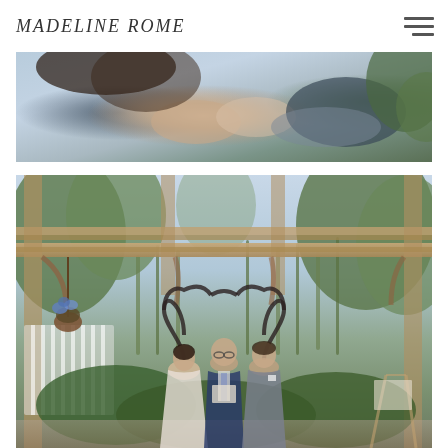MADELINE ROME
[Figure (photo): Close-up wedding photo of a couple holding hands during a ring exchange ceremony. The bride wears a white lace dress, the groom a dark suit. Green foliage visible in background.]
[Figure (photo): Outdoor wedding ceremony photo under a wooden pergola surrounded by tall green grass and trees. A bride and groom stand facing each other while an officiant reads from papers. A heart-shaped arch is visible behind them, with a hanging flower basket on the left. The setting appears to be a garden venue on an overcast day.]